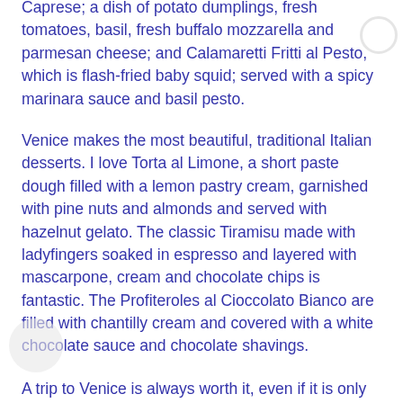Caprese; a dish of potato dumplings, fresh tomatoes, basil, fresh buffalo mozzarella and parmesan cheese; and Calamaretti Fritti al Pesto, which is flash-fried baby squid; served with a spicy marinara sauce and basil pesto.
Venice makes the most beautiful, traditional Italian desserts. I love Torta al Limone, a short paste dough filled with a lemon pastry cream, garnished with pine nuts and almonds and served with hazelnut gelato. The classic Tiramisu made with ladyfingers soaked in espresso and layered with mascarpone, cream and chocolate chips is fantastic. The Profiteroles al Cioccolato Bianco are filled with chantilly cream and covered with a white chocolate sauce and chocolate shavings.
A trip to Venice is always worth it, even if it is only for